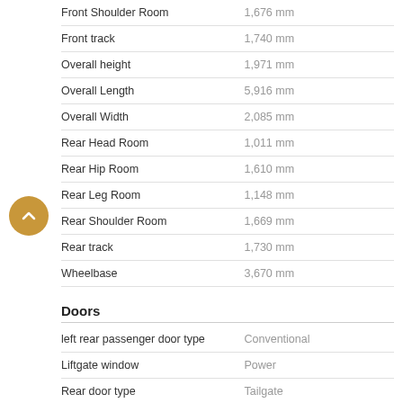| Specification | Value |
| --- | --- |
| Front Shoulder Room | 1,676 mm |
| Front track | 1,740 mm |
| Overall height | 1,971 mm |
| Overall Length | 5,916 mm |
| Overall Width | 2,085 mm |
| Rear Head Room | 1,011 mm |
| Rear Hip Room | 1,610 mm |
| Rear Leg Room | 1,148 mm |
| Rear Shoulder Room | 1,669 mm |
| Rear track | 1,730 mm |
| Wheelbase | 3,670 mm |
Doors
| Specification | Value |
| --- | --- |
| left rear passenger door type | Conventional |
| Liftgate window | Power |
| Rear door type | Tailgate |
| right rear passenger door type | Conventional |